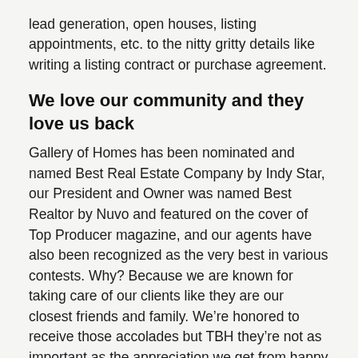lead generation, open houses, listing appointments, etc. to the nitty gritty details like writing a listing contract or purchase agreement.
We love our community and they love us back
Gallery of Homes has been nominated and named Best Real Estate Company by Indy Star, our President and Owner was named Best Realtor by Nuvo and featured on the cover of Top Producer magazine, and our agents have also been recognized as the very best in various contests. Why? Because we are known for taking care of our clients like they are our closest friends and family. We’re honored to receive those accolades but TBH they’re not as important as the appreciation we get from happy clients.
We put our money where our values are – we believe in philanthropy. Whether it’s helping to start the local Red